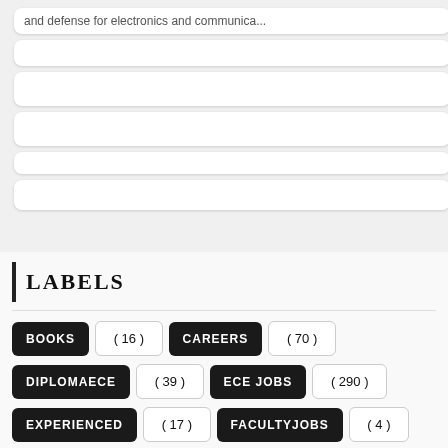and defense for electronics and communica...
LABELS
BOOKS (16)
CAREERS (70)
DIPLOMAECE (39)
ECE JOBS (290)
EXPERIENCED (17)
FACULTYJOBS (4)